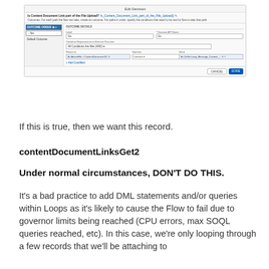[Figure (screenshot): Screenshot of 'Edit Decision' dialog in a Salesforce Flow builder. Shows fields for 'Is Content Document Link part of the File Upload?', outcome order panel on the left with a 'Yes' item and 'Default Outcome', and outcome details on the right with Label 'Go', a condition requiring All Conditions Are Met (AND), and a row with Resource 'A0 AttachFile > ContentDocument ID', Operator 'Contains', Value field with a reference. Add Condition link visible. Cancel and Done buttons at bottom right.]
If this is true, then we want this record.
contentDocumentLinksGet2
Under normal circumstances, DON'T DO THIS.
It's a bad practice to add DML statements and/or queries within Loops as it's likely to cause the Flow to fail due to governor limits being reached (CPU errors, max SOQL queries reached, etc). In this case, we're only looping through a few records that we'll be attaching to